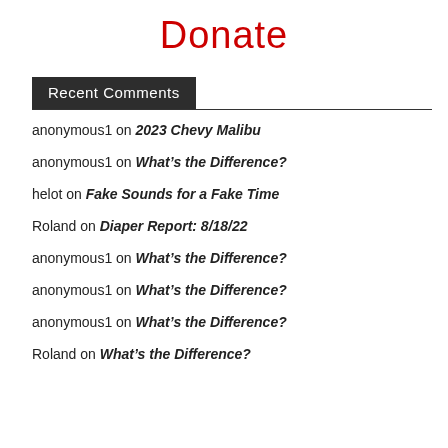Donate
Recent Comments
anonymous1 on 2023 Chevy Malibu
anonymous1 on What's the Difference?
helot on Fake Sounds for a Fake Time
Roland on Diaper Report: 8/18/22
anonymous1 on What's the Difference?
anonymous1 on What's the Difference?
anonymous1 on What's the Difference?
Roland on What's the Difference?